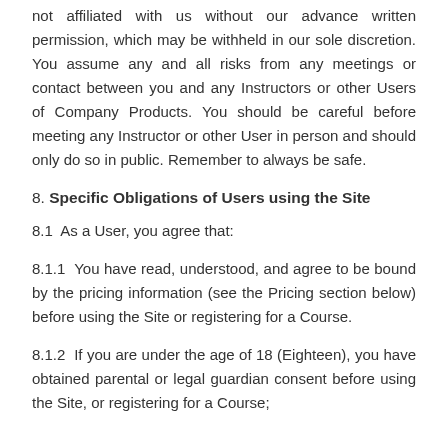not affiliated with us without our advance written permission, which may be withheld in our sole discretion. You assume any and all risks from any meetings or contact between you and any Instructors or other Users of Company Products. You should be careful before meeting any Instructor or other User in person and should only do so in public. Remember to always be safe.
8. Specific Obligations of Users using the Site
8.1  As a User, you agree that:
8.1.1  You have read, understood, and agree to be bound by the pricing information (see the Pricing section below) before using the Site or registering for a Course.
8.1.2  If you are under the age of 18 (Eighteen), you have obtained parental or legal guardian consent before using the Site, or registering for a Course;